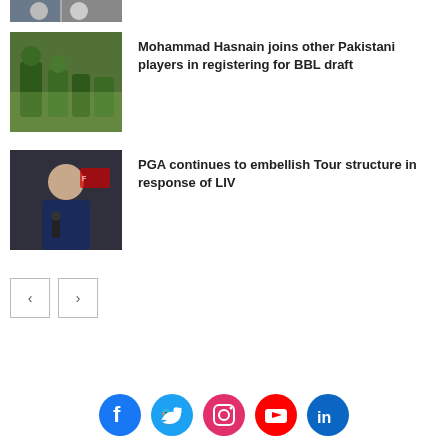[Figure (photo): Partial image of sports players at top of page]
[Figure (photo): Cricket players in green jerseys on field]
Mohammad Hasnain joins other Pakistani players in registering for BBL draft
[Figure (photo): Man in suit at press conference microphone]
PGA continues to embellish Tour structure in response of LIV
[Figure (infographic): Pagination buttons with left and right arrows]
Social media icons: Facebook, Twitter, Instagram, YouTube, LinkedIn